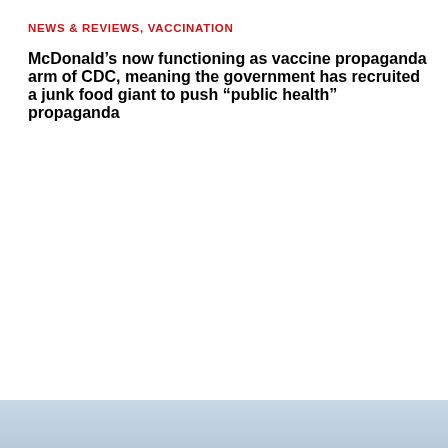NEWS & REVIEWS, VACCINATION
McDonald’s now functioning as vaccine propaganda arm of CDC, meaning the government has recruited a junk food giant to push “public health” propaganda
[Figure (photo): Partial image visible at bottom of page, light blue-grey tones]